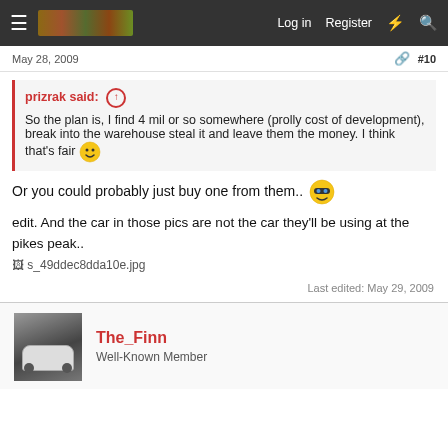Log in  Register
May 28, 2009     #10
prizrak said: ↑
So the plan is, I find 4 mil or so somewhere (prolly cost of development), break into the warehouse steal it and leave them the money. I think that's fair 🙂
Or you could probably just buy one from them.. 😎
edit. And the car in those pics are not the car they'll be using at the pikes peak..
[s_49ddec8dda10e.jpg]
Last edited: May 29, 2009
The_Finn
Well-Known Member